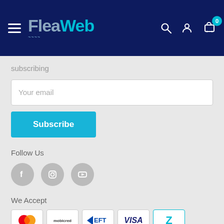FleaWeb navigation header with logo, hamburger menu, search, user, and cart icons
subscribing
Your email
Subscribe
Follow Us
[Figure (infographic): Social media icons: Facebook, Instagram, YouTube in grey circles]
We Accept
[Figure (infographic): Payment method icons: Mastercard, Mobicred, EFT, Visa, Zapper]